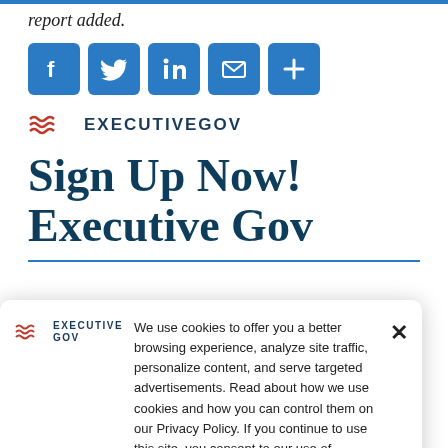report added.
[Figure (infographic): Social media share buttons: Facebook, Twitter, LinkedIn, Email, More (+)]
[Figure (logo): ExecutiveGov logo with wave icon]
Sign Up Now! Executive Gov
We use cookies to offer you a better browsing experience, analyze site traffic, personalize content, and serve targeted advertisements. Read about how we use cookies and how you can control them on our Privacy Policy. If you continue to use this site, you consent to our use of cookies.
Acquisition &